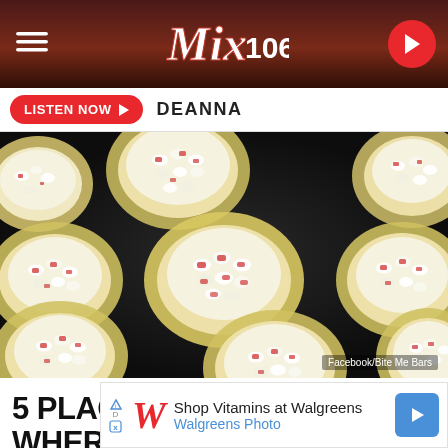Mix 106
LISTEN NOW  DEANNA
[Figure (photo): Overhead close-up photo of white chocolate peppermint bark cups filled with mini marshmallows and red candy cane pieces on a dark baking tray. Credit: Facebook/Bite Me Bars]
Facebook/Bite Me Bars
5 PLACES NEAR BOISE WHERE YOU
Shop Vitamins at Walgreens  Walgreens Photo